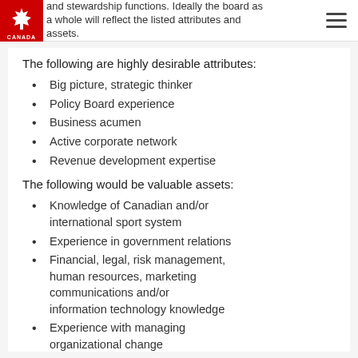and stewardship functions. Ideally the board as a whole will reflect the listed attributes and assets.
The following are highly desirable attributes:
Big picture, strategic thinker
Policy Board experience
Business acumen
Active corporate network
Revenue development expertise
The following would be valuable assets:
Knowledge of Canadian and/or international sport system
Experience in government relations
Financial, legal, risk management, human resources, marketing communications and/or information technology knowledge
Experience with managing organizational change